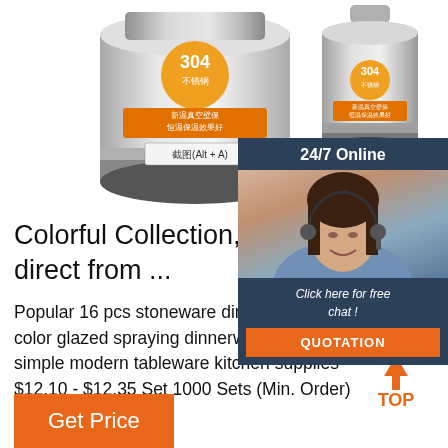[Figure (photo): Two stainless steel vacuum thermos containers with orange labels showing Chinese text and '304' marking. Left container is larger, right is smaller. A screenshot tooltip 'Alt+A' visible on left one.]
[Figure (infographic): 24/7 Online chat widget with dark navy background showing a smiling female agent with headset, text 'Click here for free chat!' and an orange QUOTATION button.]
Colorful Collection, Colorful Co direct from ...
Popular 16 pcs stoneware dinner set color glazed spraying dinnerware daily simple modern tableware kitchen supplies $12.10 - $12.35 Set 1000 Sets (Min. Order)
[Figure (logo): Orange TOP badge with arrow pointing up and dotted arc above text TOP]
Get Price